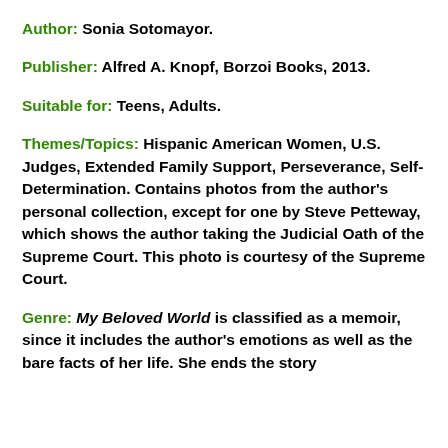Author:  Sonia Sotomayor.
Publisher:  Alfred A. Knopf, Borzoi Books, 2013.
Suitable for:  Teens, Adults.
Themes/Topics:  Hispanic American Women, U.S. Judges, Extended Family Support, Perseverance, Self-Determination.  Contains photos from the author's personal collection, except for one by Steve Petteway, which shows the author taking the Judicial Oath of the Supreme Court.  This photo is courtesy of the Supreme Court.
Genre:  My Beloved World is classified as a memoir, since it includes the author's emotions as well as the bare facts of her life.  She ends the story